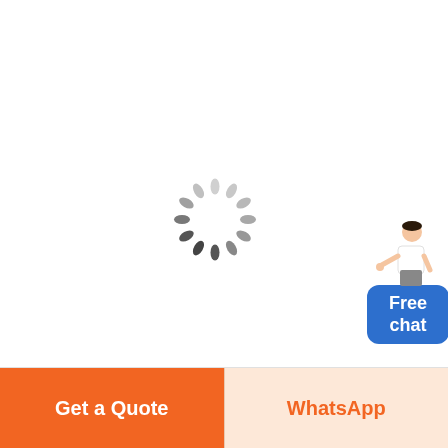[Figure (illustration): Loading spinner (circular spinner with oval dashes in gray tones) centered in the page]
[Figure (illustration): Customer service agent figure (woman in white blouse with hand extended) above a blue rounded rectangle button labeled 'Free chat']
Free chat
Get a Quote
WhatsApp